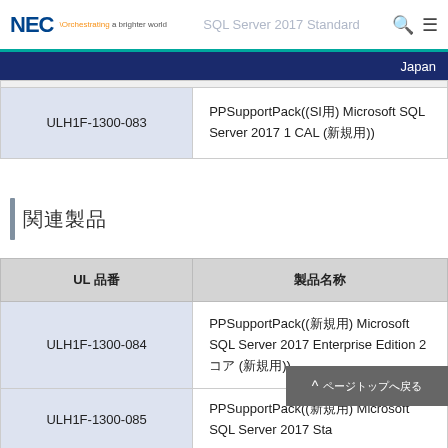NEC Orchestrating a brighter world | SQL Server 2017 Standard | Japan
|  |  |
| --- | --- |
| ULH1F-1300-083 | PPSupportPack((SI用) Microsoft SQL Server 2017 1 CAL (新規用)) |
関連製品
| UL 品番 | 製品名称 |
| --- | --- |
| ULH1F-1300-084 | PPSupportPack((新規用) Microsoft SQL Server 2017 Enterprise Edition 2コア (新規用)) |
| ULH1F-1300-085 | PPSupportPack((新規用) Microsoft SQL Server 2017 Standard... |